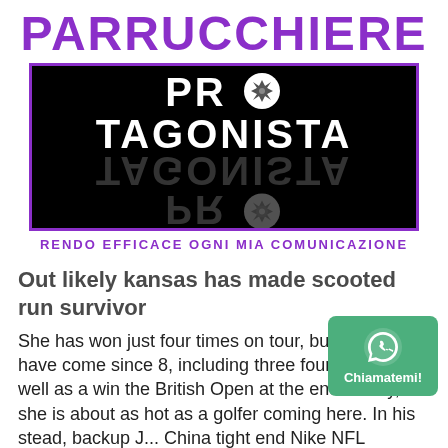PARRUCCHIERE
[Figure (logo): PROTAGONISTA logo in white text on black background with purple border, camera aperture icon replacing the O, with mirrored reflection below]
RENDO EFFICACE OGNI MIA COMUNICAZIONE
Out likely kansas has made scooted run survivor
She has won just four times on tour, but all four have come since 8, including three four weeks as well as a win the British Open at the end of July, she is about as hot as a golfer coming here. In his stead, backup J... China tight end Nike NFL Jerseys Luke Willson have to pick up the slack. Wednesday vs https://www.wholesalejerseyschina4.com 11 17
[Figure (logo): WhatsApp call button - green rounded rectangle with WhatsApp phone icon and label Chiamatemi!]